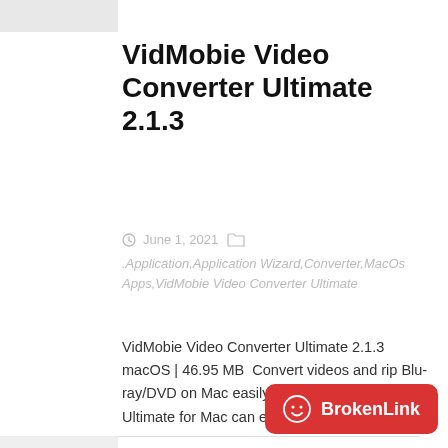[Figure (other): Partial grey image placeholder at top left]
VidMobie Video Converter Ultimate 2.1.3
June 1, 2021
.Application,Application Wizard,Converter,MacOs Apps,VidMobie Video Converter Ultimate
VidMobie Video Converter Ultimate 2.1.3 macOS | 46.95 MB  Convert videos and rip Blu-ray/DVD on Mac easily & fast. Video Converter Ultimate for Mac can easily convert all kinds…
[Figure (other): Loading spinner icon on grey background]
NoteBurner Spotify Mac Converter 3.1.1